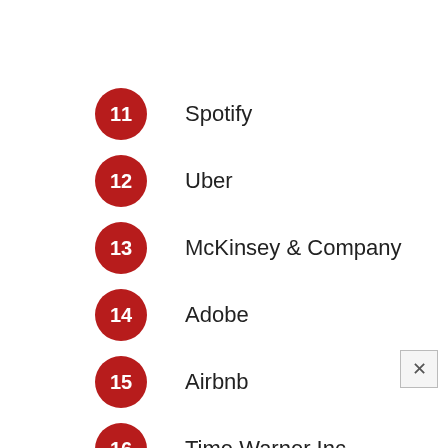11 Spotify
12 Uber
13 McKinsey & Company
14 Adobe
15 Airbnb
16 Time Warner Inc.
17 Dell Technologies
18 JPMorgan Chase & Co.
19 LVMH
20 IBM